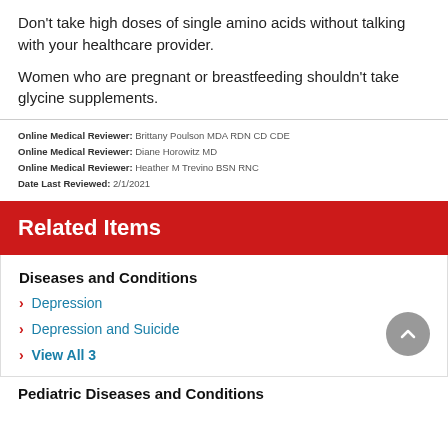Don't take high doses of single amino acids without talking with your healthcare provider.
Women who are pregnant or breastfeeding shouldn't take glycine supplements.
Online Medical Reviewer: Brittany Poulson MDA RDN CD CDE
Online Medical Reviewer: Diane Horowitz MD
Online Medical Reviewer: Heather M Trevino BSN RNC
Date Last Reviewed: 2/1/2021
Related Items
Diseases and Conditions
Depression
Depression and Suicide
View All 3
Pediatric Diseases and Conditions